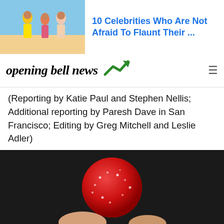[Figure (photo): Ad banner showing women in swimsuits on beach]
10 Celebrities Who Are Not Afraid To Flaunt Their ...
opening bell news
(Reporting by Katie Paul and Stephen Nellis; Additional reporting by Paresh Dave in San Francisco; Editing by Greg Mitchell and Leslie Adler)
Share:
[Figure (photo): Close-up photo of a red sugary gummy candy being held between fingers against a dark background]